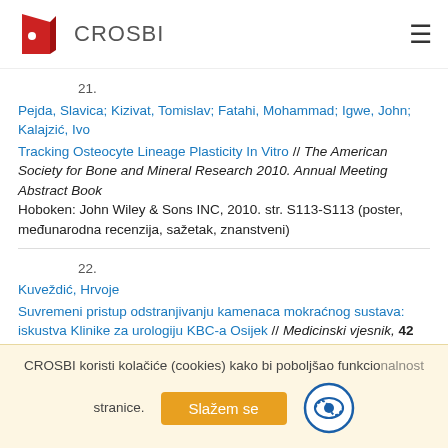CROSBI
21. Pejda, Slavica; Kizivat, Tomislav; Fatahi, Mohammad; Igwe, John; Kalajzić, Ivo
Tracking Osteocyte Lineage Plasticity In Vitro // The American Society for Bone and Mineral Research 2010. Annual Meeting Abstract Book
Hoboken: John Wiley & Sons INC, 2010. str. S113-S113 (poster, međunarodna recenzija, sažetak, znanstveni)
22. Kuveždić, Hrvoje
Suvremeni pristup odstranjivanju kamenaca mokraćnog sustava: iskustva Klinike za urologiju KBC-a Osijek // Medicinski vjesnik, 42 (3-4) (2010). 279-284 (podatak o recenziji nije dostupan, članak,
CROSBI koristi kolačiće (cookies) kako bi poboljšao funkcionalnost stranice. Slažem se